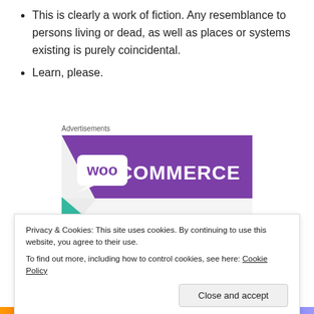This is clearly a work of fiction. Any resemblance to persons living or dead, as well as places or systems existing is purely coincidental.
Learn, please.
Advertisements
[Figure (logo): WooCommerce advertisement banner with purple background, WooCommerce logo in white text with speech-bubble 'Woo' icon, teal and light-blue geometric triangle accents on grey area below]
Privacy & Cookies: This site uses cookies. By continuing to use this website, you agree to their use.
To find out more, including how to control cookies, see here: Cookie Policy
Close and accept